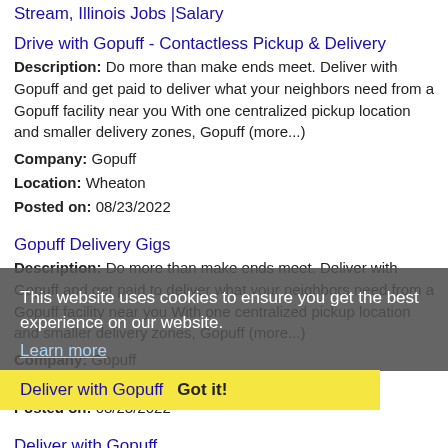Stream, Illinois Jobs |Salary
Drive with Gopuff - Contactless Pickup & Delivery
Description: Do more than make ends meet. Deliver with Gopuff and get paid to deliver what your neighbors need from a Gopuff facility near you With one centralized pickup location and smaller delivery zones, Gopuff (more...)
Company: Gopuff
Location: Wheaton
Posted on: 08/23/2022
Gopuff Delivery Gigs
Description: Do more than make ends meet. Deliver with Gopuff and get paid to deliver what your neighbors need from a Gopuff facility near you With one centralized pickup location and smaller delivery zones, Gopuff (more...)
Company: Gopuff
Location: Wheaton
Posted on: 08/23/2022
This website uses cookies to ensure you get the best experience on our website. Learn more
Deliver with Gopuff   Got it!
Description: Do more than make ends meet. Deliver with Gopuff and get paid to deliver what your neighbors need from a Gopuff facility near you With one centralized pickup location and smaller